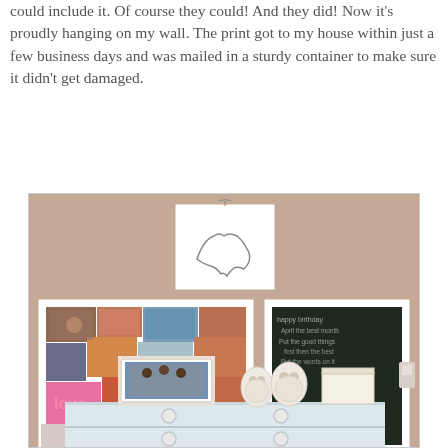could include it. Of course they could! And they did! Now it's proudly hanging on my wall. The print got to my house within just a few business days and was mailed in a sturdy container to make sure it didn't get damaged.
[Figure (photo): A bedroom wall with decorations hung above a white dresser. At the top center is a framed West Virginia state map print. On the left is a large photo collage board with many colorful pictures. On the right is a black chalkboard with white writing. On top of the dresser are a decorative white frame with a photo, two white owl figurines, and a small box.]